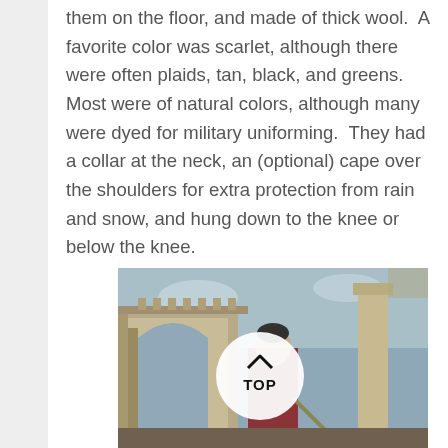them on the floor, and made of thick wool.  A favorite color was scarlet, although there were often plaids, tan, black, and greens.  Most were of natural colors, although many were dyed for military uniforming.  They had a collar at the neck, an (optional) cape over the shoulders for extra protection from rain and snow, and hung down to the knee or below the knee.
[Figure (photo): A classical painting depicting a figure in historical dress with architectural columns and sky in the background. An overlaid circular button with an upward arrow and the word TOP is shown in the center of the image.]